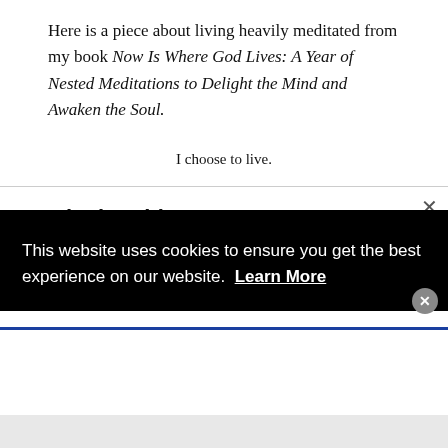Here is a piece about living heavily meditated from my book Now Is Where God Lives: A Year of Nested Meditations to Delight the Mind and Awaken the Soul.
I choose to live.
Enjoying this content?
This website uses cookies to ensure you get the best experience on our website.  Learn More